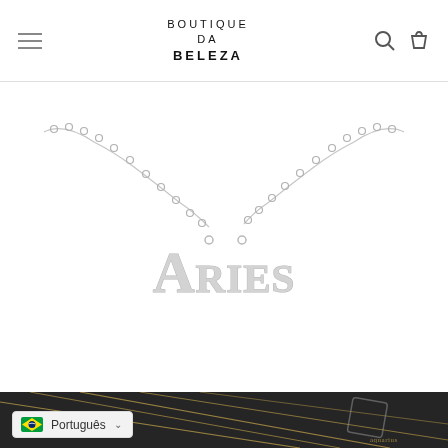BOUTIQUE DA BELEZA
[Figure (photo): Silver Aries zodiac name necklace with old English gothic font lettering on a delicate silver chain, displayed on white background]
[Figure (photo): Gold chain necklaces displayed on dark/black textured background]
Português